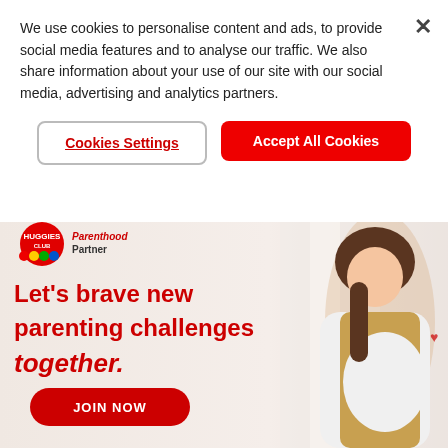We use cookies to personalise content and ads, to provide social media features and to analyse our traffic. We also share information about your use of our site with our social media, advertising and analytics partners.
Cookies Settings
Accept All Cookies
[Figure (illustration): Huggies Club Parenthood Partner advertisement banner showing a pregnant Asian woman smiling, with Huggies diaper product (5 Touches of Comfort), headline 'Let's brave new parenting challenges together.', JOIN NOW button, and Huggies Club logo.]